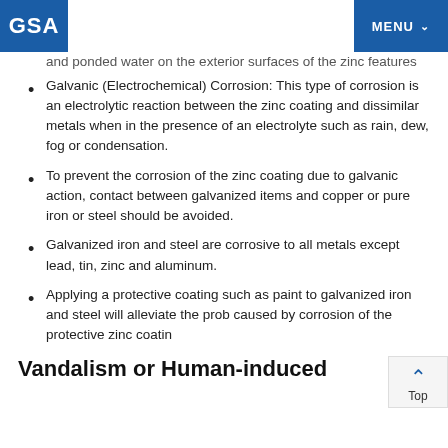GSA | MENU
and ponded water on the exterior surfaces of the zinc features
Galvanic (Electrochemical) Corrosion: This type of corrosion is an electrolytic reaction between the zinc coating and dissimilar metals when in the presence of an electrolyte such as rain, dew, fog or condensation.
To prevent the corrosion of the zinc coating due to galvanic action, contact between galvanized items and copper or pure iron or steel should be avoided.
Galvanized iron and steel are corrosive to all metals except lead, tin, zinc and aluminum.
Applying a protective coating such as paint to galvanized iron and steel will alleviate the prob caused by corrosion of the protective zinc coatin
Vandalism or Human-induced